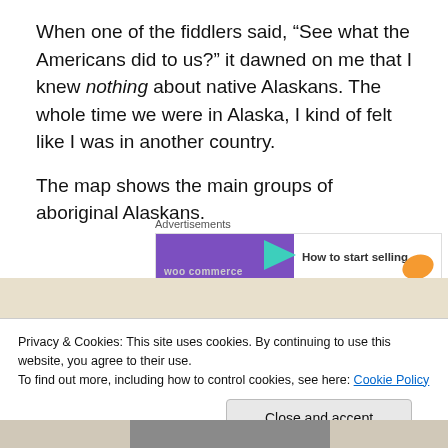When one of the fiddlers said, “See what the Americans did to us?” it dawned on me that I knew nothing about native Alaskans. The whole time we were in Alaska, I kind of felt like I was in another country.
The map shows the main groups of aboriginal Alaskans.
[Figure (screenshot): Advertisement banner for WooCommerce with purple background, teal arrow, text 'How to start selling', and orange decorative shape]
[Figure (map): Partial view of a map showing aboriginal Alaskan groups, with beige/tan background]
Privacy & Cookies: This site uses cookies. By continuing to use this website, you agree to their use.
To find out more, including how to control cookies, see here: Cookie Policy
Close and accept